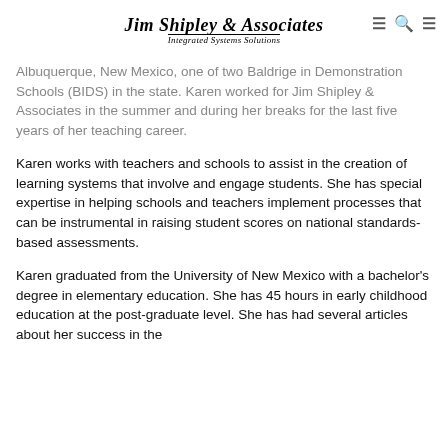Jim Shipley & Associates – Integrated Systems Solutions
Albuquerque, New Mexico, one of two Baldrige in Demonstration Schools (BIDS) in the state. Karen worked for Jim Shipley & Associates in the summer and during her breaks for the last five years of her teaching career.
Karen works with teachers and schools to assist in the creation of learning systems that involve and engage students. She has special expertise in helping schools and teachers implement processes that can be instrumental in raising student scores on national standards-based assessments.
Karen graduated from the University of New Mexico with a bachelor's degree in elementary education. She has 45 hours in early childhood education at the post-graduate level. She has had several articles about her success in the